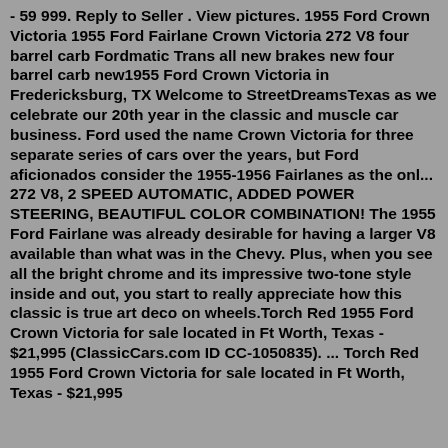- 59 999. Reply to Seller . View pictures. 1955 Ford Crown Victoria 1955 Ford Fairlane Crown Victoria 272 V8 four barrel carb Fordmatic Trans all new brakes new four barrel carb new1955 Ford Crown Victoria in Fredericksburg, TX Welcome to StreetDreamsTexas as we celebrate our 20th year in the classic and muscle car business. Ford used the name Crown Victoria for three separate series of cars over the years, but Ford aficionados consider the 1955-1956 Fairlanes as the onl... 272 V8, 2 SPEED AUTOMATIC, ADDED POWER STEERING, BEAUTIFUL COLOR COMBINATION! The 1955 Ford Fairlane was already desirable for having a larger V8 available than what was in the Chevy. Plus, when you see all the bright chrome and its impressive two-tone style inside and out, you start to really appreciate how this classic is true art deco on wheels.Torch Red 1955 Ford Crown Victoria for sale located in Ft Worth, Texas - $21,995 (ClassicCars.com ID CC-1050835). ... Torch Red 1955 Ford Crown Victoria for sale located in Ft Worth, Texas - $21,995